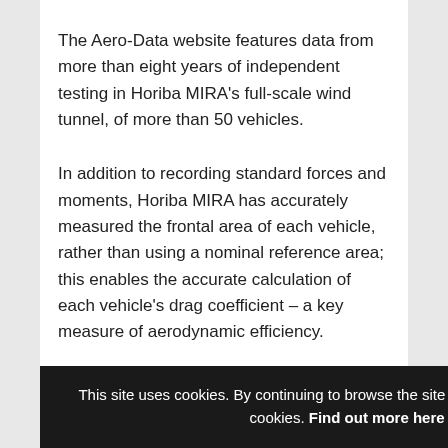The Aero-Data website features data from more than eight years of independent testing in Horiba MIRA's full-scale wind tunnel, of more than 50 vehicles.
In addition to recording standard forces and moments, Horiba MIRA has accurately measured the frontal area of each vehicle, rather than using a nominal reference area; this enables the accurate calculation of each vehicle's drag coefficient – a key measure of aerodynamic efficiency.
The data can be harnessed to develop an understanding of current and future performance trends, t[obscured by cookie banner] vehicles[obscured] ensuring[obscured]
This site uses cookies. By continuing to browse the site you are agreeing to our use of cookies. Find out more here   [X]